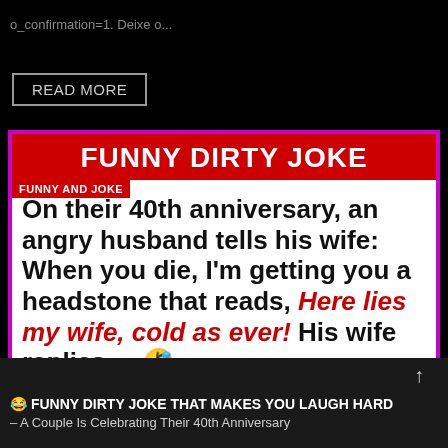o_confirmation=1. Deixe o...
READ MORE
FUNNY DIRTY JOKE
FUNNY AND JOKE
On their 40th anniversary, an angry husband tells his wife: When you die, I'm getting you a headstone that reads, Here lies my wife, cold as ever! His wife replies ... 🤣
😂 FUNNY DIRTY JOKE THAT MAKES YOU LAUGH HARD – A Couple Is Celebrating Their 40th Anniversary